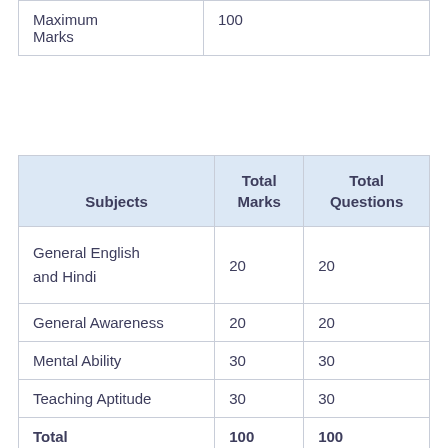|  |  |
| --- | --- |
| Maximum
Marks | 100 |
| Subjects | Total Marks | Total Questions |
| --- | --- | --- |
| General English and Hindi | 20 | 20 |
| General Awareness | 20 | 20 |
| Mental Ability | 30 | 30 |
| Teaching Aptitude | 30 | 30 |
| Total | 100 | 100 |